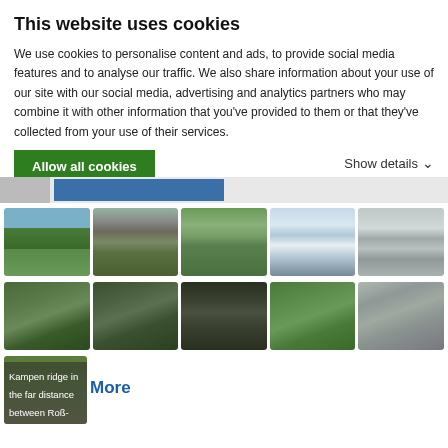This website uses cookies
We use cookies to personalise content and ads, to provide social media features and to analyse our traffic. We also share information about your use of our site with our social media, advertising and analytics partners who may combine it with other information that you've provided to them or that they've collected from your use of their services.
Allow all cookies
Show details
[Figure (photo): Mountain landscape photo gallery with 11 thumbnail images of alpine scenery including mountain ridges, wildflowers, snowy peaks, and valleys. Last image shows caption 'Kampen ridge in the far distance between Roß-' with a 'More' link.]